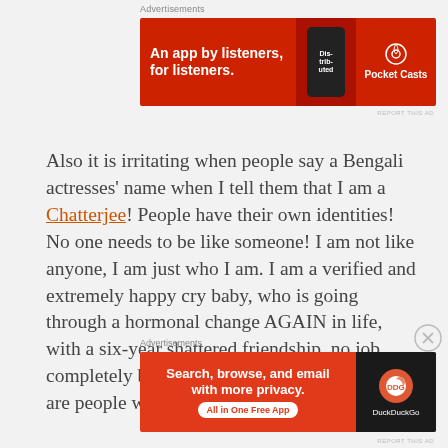[Figure (screenshot): Top advertisement banner — Pocket Casts app ad on red background: 'An app by listeners, for listeners.' with phone graphic and Pocket Casts logo]
Also it is irritating when people say a Bengali actresses' name when I tell them that I am a Chatterjee! People have their own identities! No one needs to be like someone! I am not like anyone, I am just who I am. I am a verified and extremely happy cry baby, who is going through a hormonal change AGAIN in life, with a six-year shattered friendship, no job, completely broke, and adding to all these there are people who keeps me
[Figure (screenshot): Bottom advertisement banner — DuckDuckGo app ad on orange-red background: 'Search, browse, and email with more privacy. All in One Free App' with DuckDuckGo logo on dark background]